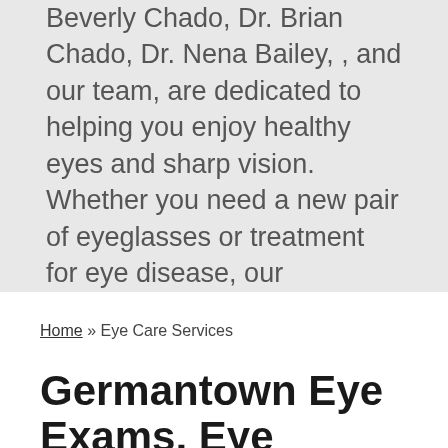Beverly Chado, Dr. Brian Chado, Dr. Nena Bailey, , and our team, are dedicated to helping you enjoy healthy eyes and sharp vision. Whether you need a new pair of eyeglasses or treatment for eye disease, our Germantown optometric team provides cutting-edge eye and vision care.
SCHEDULE AN APPOINTMENT
Home » Eye Care Services
Germantown Eye Exams, Eye Emergencies & More
Our optometrists at Eye To Eye provide eyewear